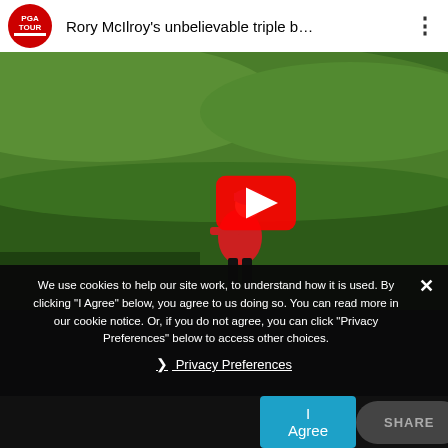[Figure (screenshot): YouTube video player header showing PGA Tour logo and video title 'Rory McIlroy’s unbelievable triple b…' with three-dot menu icon]
[Figure (screenshot): Golf video thumbnail showing a golfer in red shirt on a golf course green, with a YouTube play button overlay in the center]
We use cookies to help our site work, to understand how it is used. By clicking “I Agree” below, you agree to us doing so. You can read more in our cookie notice. Or, if you do not agree, you can click "Privacy Preferences" below to access other choices.
› Privacy Preferences
I Agree
SHARE